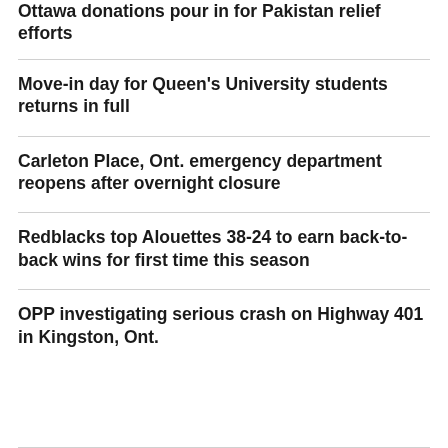Ottawa donations pour in for Pakistan relief efforts
Move-in day for Queen's University students returns in full
Carleton Place, Ont. emergency department reopens after overnight closure
Redblacks top Alouettes 38-24 to earn back-to-back wins for first time this season
OPP investigating serious crash on Highway 401 in Kingston, Ont.